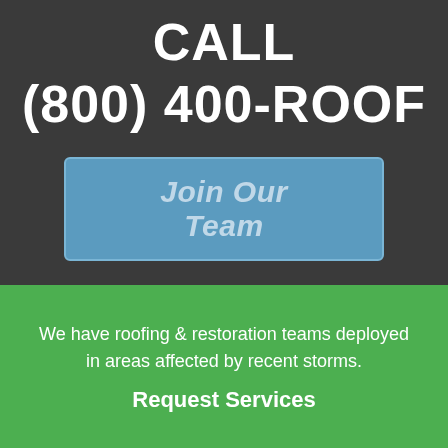CALL (800) 400-ROOF
Join Our Team
We have roofing & restoration teams deployed in areas affected by recent storms.
Request Services